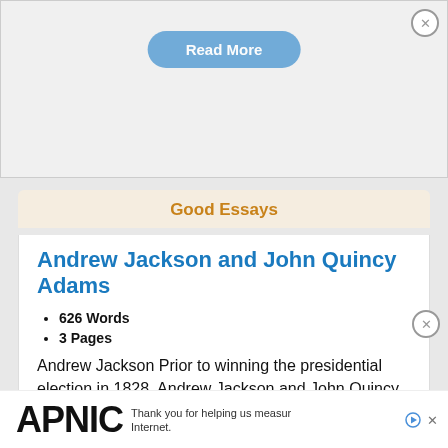[Figure (screenshot): Read More button (rounded pill, blue) at top of page]
Good Essays
Andrew Jackson and John Quincy Adams
626 Words
3 Pages
Andrew Jackson Prior to winning the presidential election in 1828, Andrew Jackson and John Quincy Adams shared deep hatred for each other. When Jackson won the presidential election, his popularity created the age of Jacksonian democracy. It replaced the Jeffersonian democracy, where Jefferson had created a nation governed ... property holders. Jackson was a symbol of an age because he ...
[Figure (logo): APNIC advertisement banner with logo and text: Thank you for helping us measure the Internet.]